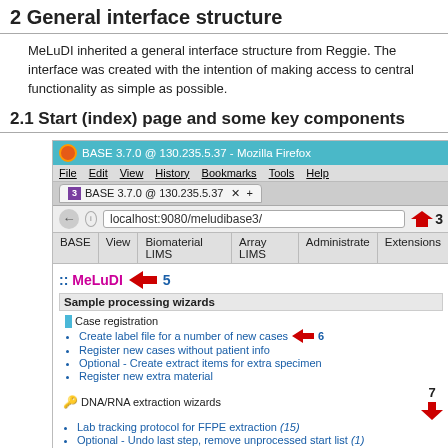2 General interface structure
MeLuDI inherited a general interface structure from Reggie. The interface was created with the intention of making access to central functionality as simple as possible.
2.1 Start (index) page and some key components
[Figure (screenshot): Screenshot of Mozilla Firefox browser showing the MeLuDI BASE 3.7.0 web application at localhost:9080/meludibase3/. The interface shows navigation bar with BASE, View, Biomaterial LIMS, Array LIMS, Administrate, Extensions. Main content shows ':: MeLuDI' header with red arrow labeled 5, 'Sample processing wizards' section with Case registration items (Create label file for a number of new cases with red arrow labeled 6, Register new cases without patient info, Optional - Create extract items for extra specimen, Register new extra material), DNA/RNA extraction wizards section (Lab tracking protocol for FFPE extraction (15), Optional - Undo last step remove unprocessed start list (1), DNA/RNA registration/quantification (1), Lab tracking protocol/report copy (1)) with red arrow labeled 7, and Library preparation wizards section at bottom. Red arrow labeled 3 points to the address bar area.]